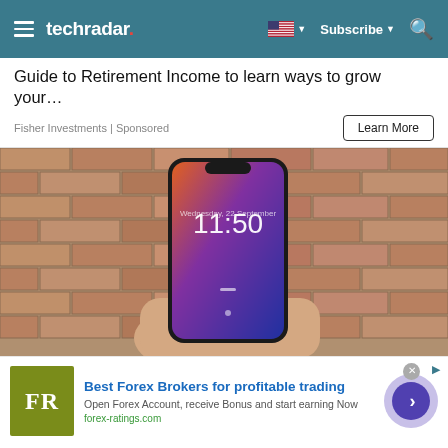techradar
Guide to Retirement Income to learn ways to grow your…
Fisher Investments | Sponsored
Learn More
[Figure (photo): A hand holding a black iPhone showing the lock screen with time 11:50, in front of a brick wall background]
Best Forex Brokers for profitable trading
Open Forex Account, receive Bonus and start earning Now
forex-ratings.com